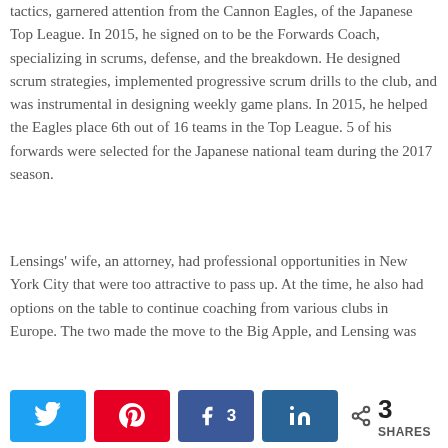His strong coaching ability, and unique motivational tactics, garnered attention from the Cannon Eagles, of the Japanese Top League. In 2015, he signed on to be the Forwards Coach, specializing in scrums, defense, and the breakdown. He designed scrum strategies, implemented progressive scrum drills to the club, and was instrumental in designing weekly game plans. In 2015, he helped the Eagles place 6th out of 16 teams in the Top League. 5 of his forwards were selected for the Japanese national team during the 2017 season.
Lensings' wife, an attorney, had professional opportunities in New York City that were too attractive to pass up. At the time, he also had options on the table to continue coaching from various clubs in Europe. The two made the move to the Big Apple, and Lensing was
[Figure (other): Social share bar with Twitter, Pinterest, Facebook (3 shares), LinkedIn buttons and a total of 3 SHARES counter]